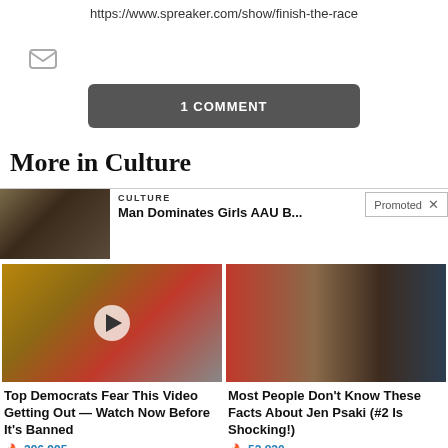https://www.spreaker.com/show/finish-the-race
[Figure (other): Email/envelope icon button]
1 COMMENT
More in Culture
[Figure (photo): Basketball hoop thumbnail image for a Culture article]
CULTURE
Man Dominates Girls AAU B...
Promoted
[Figure (photo): Video thumbnail showing Melania Trump and Donald Trump with a play button overlay]
Top Democrats Fear This Video Getting Out — Watch Now Before It's Banned
296,995
[Figure (photo): Split image of Jen Psaki and Donald Trump]
Most People Don't Know These Facts About Jen Psaki (#2 Is Shocking!)
52,820